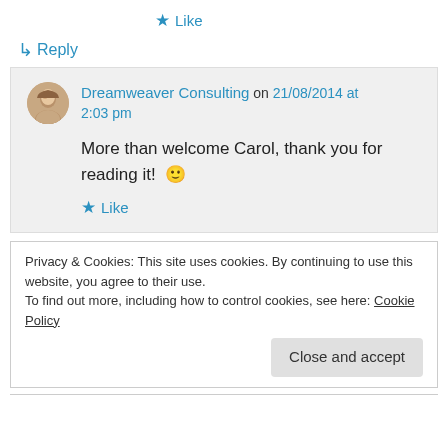★ Like
↳ Reply
Dreamweaver Consulting on 21/08/2014 at 2:03 pm
More than welcome Carol, thank you for reading it! 🙂
★ Like
Privacy & Cookies: This site uses cookies. By continuing to use this website, you agree to their use.
To find out more, including how to control cookies, see here: Cookie Policy
Close and accept